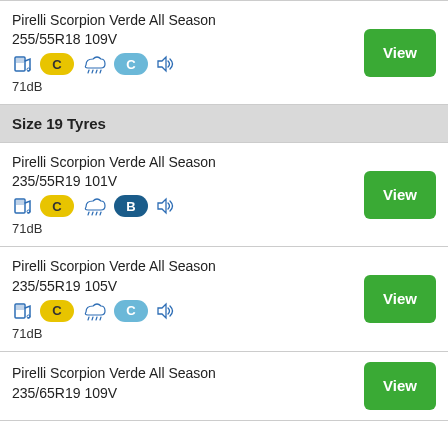Pirelli Scorpion Verde All Season 255/55R18 109V | C | C | 71dB | View
Size 19 Tyres
Pirelli Scorpion Verde All Season 235/55R19 101V | C | B | 71dB | View
Pirelli Scorpion Verde All Season 235/55R19 105V | C | C | 71dB | View
Pirelli Scorpion Verde All Season 235/65R19 109V | View